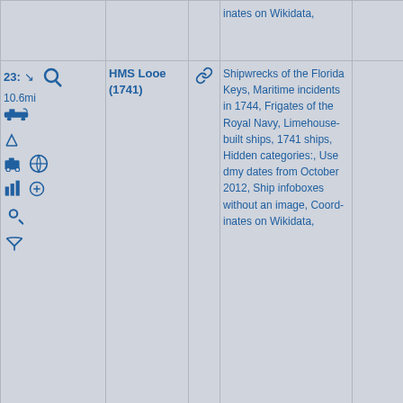| #/dist/icons | Name | Link | Categories | Extra |
| --- | --- | --- | --- | --- |
| (continued from above) |  |  | inates on Wikidata, |  |
| 23: 10.6mi [icons] | HMS Looe (1741) | 🔗 | Shipwrecks of the Florida Keys, Maritime incidents in 1744, Frigates of the Royal Navy, Limehouse-built ships, 1741 ships, Hidden categories:, Use dmy dates from October 2012, Ship infoboxes without an image, Coordinates on Wikidata, |  |
| 24: 11.2mi [icons] | Big Coppitt Key | 🔗 | Islands of Monroe County, Florida, Hidden categories:, Articles to be merged from January 2014, All artic... |  |